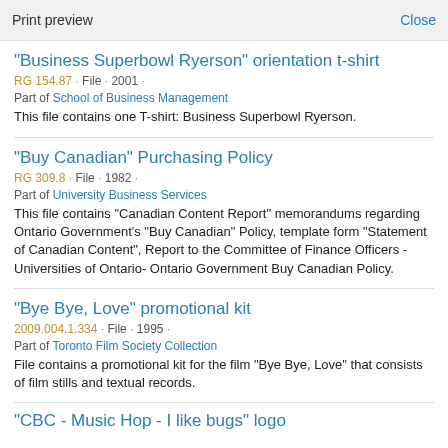Print preview   Close
"Business Superbowl Ryerson" orientation t-shirt
RG 154.87 · File · 2001 ·
Part of School of Business Management
This file contains one T-shirt: Business Superbowl Ryerson.
"Buy Canadian" Purchasing Policy
RG 309.8 · File · 1982 ·
Part of University Business Services
This file contains "Canadian Content Report" memorandums regarding Ontario Government's "Buy Canadian" Policy, template form "Statement of Canadian Content", Report to the Committee of Finance Officers - Universities of Ontario- Ontario Government Buy Canadian Policy.
"Bye Bye, Love" promotional kit
2009.004.1.334 · File · 1995 ·
Part of Toronto Film Society Collection
File contains a promotional kit for the film "Bye Bye, Love" that consists of film stills and textual records.
"CBC - Music Hop - I like bugs" logo